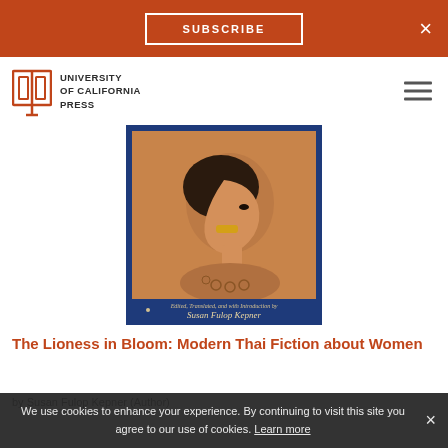SUBSCRIBE  ×
[Figure (logo): University of California Press logo — open book icon with text UNIVERSITY of CALIFORNIA PRESS]
[Figure (photo): Book cover of 'The Lioness in Bloom: Modern Thai Fiction about Women' — blue-bordered cover with tan/terracotta background showing a stylized profile painting of a woman with dark hair and decorative patterns, author Susan Fulop Kepner credited at bottom]
The Lioness in Bloom: Modern Thai Fiction about Women
by Susan Fulop Kepner (Author)
We use cookies to enhance your experience. By continuing to visit this site you agree to our use of cookies. Learn more